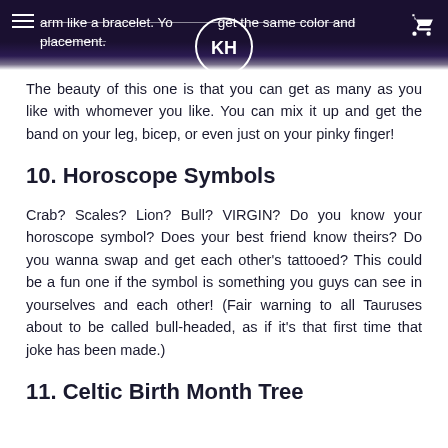arm like a bracelet. You get the same color and placement.
The beauty of this one is that you can get as many as you like with whomever you like. You can mix it up and get the band on your leg, bicep, or even just on your pinky finger!
10. Horoscope Symbols
Crab? Scales? Lion? Bull? VIRGIN? Do you know your horoscope symbol? Does your best friend know theirs? Do you wanna swap and get each other's tattooed? This could be a fun one if the symbol is something you guys can see in yourselves and each other! (Fair warning to all Tauruses about to be called bull-headed, as if it's that first time that joke has been made.)
11. Celtic Birth Month Tree